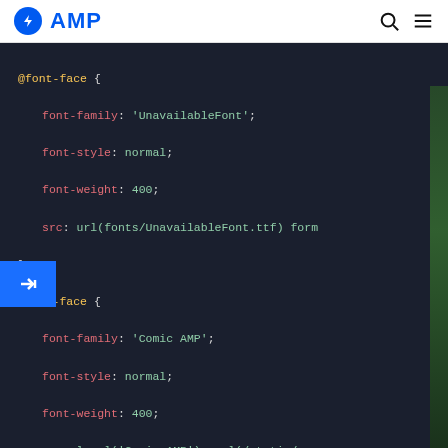AMP
[Figure (screenshot): Code editor screenshot showing CSS @font-face declarations with dark theme. Contains three @font-face blocks for 'UnavailableFont', 'Comic AMP', and 'Comic AMP 2', followed by a CSS selector '.unavailable-font-loaded .unavailable-font' with font-family property.]